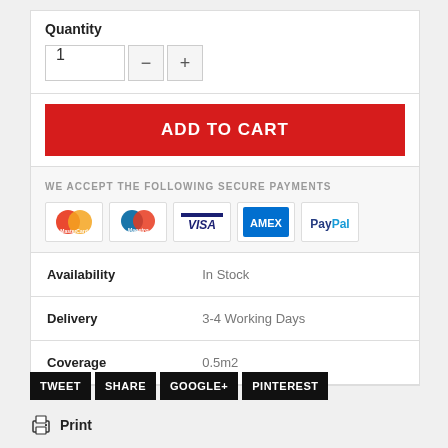Quantity
1
ADD TO CART
WE ACCEPT THE FOLLOWING SECURE PAYMENTS
[Figure (other): Payment method logos: MasterCard, Maestro, VISA, AMEX, PayPal]
| Availability | In Stock |
| Delivery | 3-4 Working Days |
| Coverage | 0.5m2 |
TWEET   SHARE   GOOGLE+   PINTEREST
Print